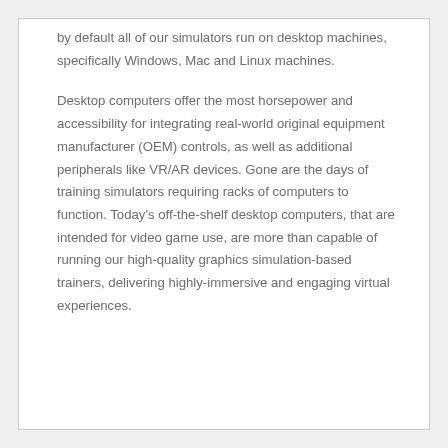by default all of our simulators run on desktop machines, specifically Windows, Mac and Linux machines.
Desktop computers offer the most horsepower and accessibility for integrating real-world original equipment manufacturer (OEM) controls, as well as additional peripherals like VR/AR devices. Gone are the days of training simulators requiring racks of computers to function. Today's off-the-shelf desktop computers, that are intended for video game use, are more than capable of running our high-quality graphics simulation-based trainers, delivering highly-immersive and engaging virtual experiences.